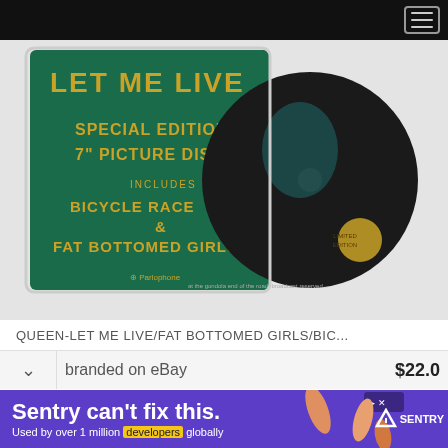[Figure (photo): Product listing photo of Queen - Let Me Live Special Edition 7-inch Picture Disc vinyl record, showing green cover with gold text reading SPECIAL EDITION 7" PICTURE DISC, INCLUDES BICYCLE RACE & FAT BOTTOMED GIRLS, and partial view of the circular picture disc with a face visible]
QUEEN-LET ME LIVE/FAT BOTTOMED GIRLS/BIC...
branded on eBay  $22.0
[Figure (infographic): Sentry advertisement banner: Sentry can't fix this. Used by over 1 million developers globally. Purple background with decorative hand/figure graphics and Sentry logo.]